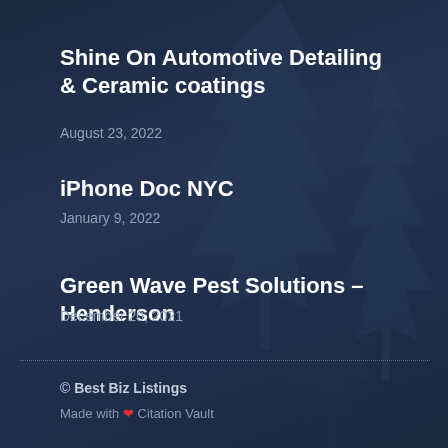Shine On Automotive Detailing & Ceramic coatings
August 23, 2022
iPhone Doc NYC
January 9, 2022
Green Wave Pest Solutions – Henderson
December 20, 2021
© Best Biz Listings
Made with ❤ Citation Vault